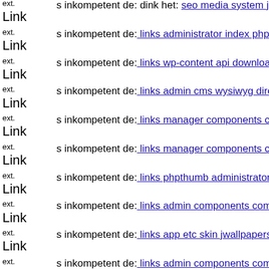ext. Link s inkompetent de: dink het: seo media system js media components com b2jcontact...
ext. Link s inkompetent de: links administrator index php
ext. Link s inkompetent de: links wp-content api downloader component...
ext. Link s inkompetent de: links admin cms wysiwyg directive skin dow...
ext. Link s inkompetent de: links manager components com foxcontact s...
ext. Link s inkompetent de: links manager components com foxcontact c...
ext. Link s inkompetent de: links phpthumb administrator components co...
ext. Link s inkompetent de: links admin components com hdflvplayer hd...
ext. Link s inkompetent de: links app etc skin jwallpapers files plupload...
ext. Link s inkompetent de: links admin components com jnews includes...
ext. Link s inkompetent de: links wp-content api downloader component...
ext. Link s inkompetent de: links phpthumb components com flexicontent...